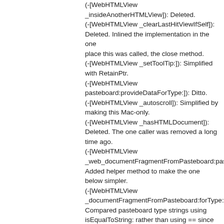(-[WebHTMLView _insideAnotherHTMLView]): Deleted. (-[WebHTMLView _clearLastHitViewIfSelf]): Deleted. Inlined the implementation in the one place this was called, the close method. (-[WebHTMLView _setToolTip:]): Simplified with RetainPtr. (-[WebHTMLView pasteboard:provideDataForType:]): Ditto. (-[WebHTMLView _autoscroll]): Simplified by making this Mac-only. (-[WebHTMLView _hasHTMLDocument]): Deleted. The one caller was removed a long time ago. (-[WebHTMLView _web_documentFragmentFromPasteboard:pasteboardType:imageMIMEType:]): Added helper method to make the one below simpler. (-[WebHTMLView _documentFragmentFromPasteboard:forType:inContext:subresources:]): Compared pasteboard type strings using isEqualToString: rather than using == since we want to actually compare the string contents. Also updated to use modern for loop, renamed a local variable from "s" to "localSubresources", and factored out the handling of three image types to use the helper method above. (-[WebHTMLView _pauseNullEventsForAllNetscapePlugins]): Rewrite using the _web_makePluginSubviewsPerformSelector:withObject: method. (-[WebHTMLView _resumeNullEventsForAllNetscapePlugins]): Ditto. (-[NSView _web_addDescendentWebHTMLViewsToArray:]): Fixed spelling to use the adjective